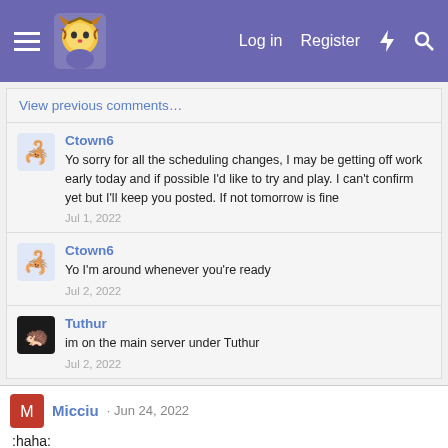Log in  Register
View previous comments…
Ctown6
Yo sorry for all the scheduling changes, I may be getting off work early today and if possible I'd like to try and play. I can't confirm yet but I'll keep you posted. If not tomorrow is fine
Jul 1, 2022
Ctown6
Yo I'm around whenever you're ready
Jul 2, 2022
Tuthur
im on the main server under Tuthur
Jul 2, 2022
Micciu · Jun 24, 2022
:haha: